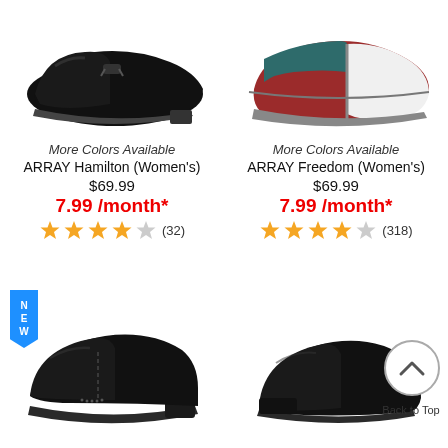[Figure (photo): Black women's loafer shoe - ARRAY Hamilton]
More Colors Available
ARRAY Hamilton (Women's)
$69.99
7.99 /month*
(32) stars rating
[Figure (photo): Multi-color women's flat shoe - ARRAY Freedom]
More Colors Available
ARRAY Freedom (Women's)
$69.99
7.99 /month*
(318) stars rating
[Figure (photo): Black women's loafer shoe bottom left]
[Figure (photo): Black women's flat shoe bottom right]